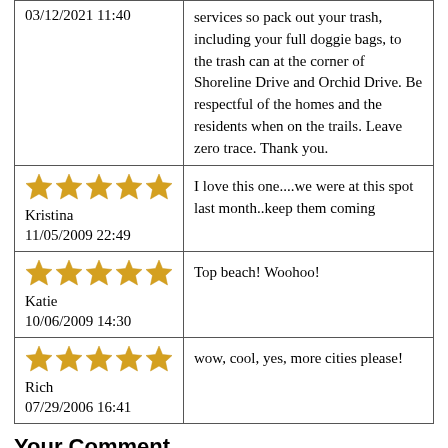| Reviewer | Review |
| --- | --- |
| 03/12/2021 11:40 | services so pack out your trash, including your full doggie bags, to the trash can at the corner of Shoreline Drive and Orchid Drive. Be respectful of the homes and the residents when on the trails. Leave zero trace. Thank you. |
| ★★★★★
Kristina
11/05/2009 22:49 | I love this one....we were at this spot last month..keep them coming |
| ★★★★★
Katie
10/06/2009 14:30 | Top beach! Woohoo! |
| ★★★★★
Rich
07/29/2006 16:41 | wow, cool, yes, more cities please! |
Your Comment